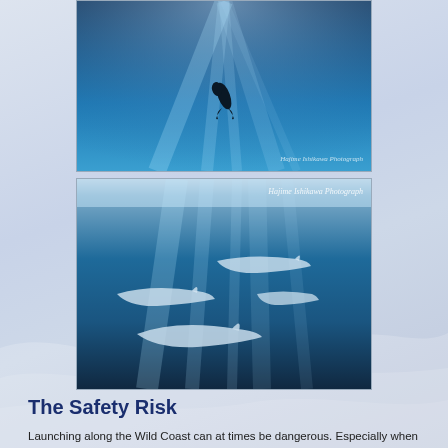[Figure (photo): Underwater photo of a scuba diver swimming in deep blue water with light rays filtering through. Watermark reads 'Hajime Ishikawa Photograph'.]
[Figure (photo): Underwater photo showing several sharks swimming in blue water with light rays. Watermark reads 'Hajime Ishikawa Photograph'.]
The Safety Risk
Launching along the Wild Coast can at times be dangerous. Especially when the wind has blown all day the sea will get whipped up. As everybody is under a certain pressure to deliver client's expectations, one sometimes launches a boat when one should rather have cancelled the day's activities.
Furthermore, if divers come accross a Bait Ball and get too close